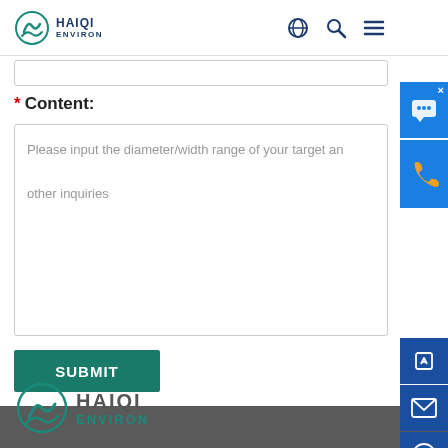HAIQI ENVIRON
* Content:
Please input the diameter/width range of your target an other inquiries
SUBMIT
[Figure (logo): HAIQI ENVIRON logo in footer, teal circular icon with company name]
HAIQI ENVIRON